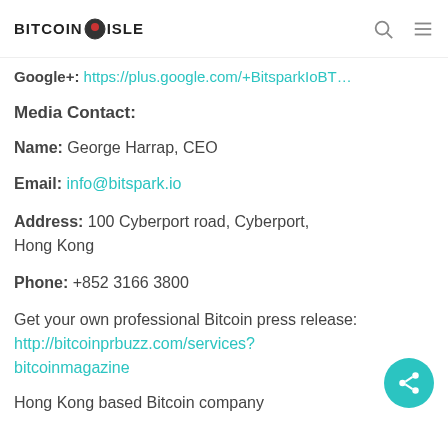BITCOIN ISLE
Google+: https://plus.google.com/+BitsparkIoBT…
Media Contact:
Name: George Harrap, CEO
Email: info@bitspark.io
Address: 100 Cyberport road, Cyberport, Hong Kong
Phone: +852 3166 3800
Get your own professional Bitcoin press release: http://bitcoinprbuzz.com/services? bitcoinmagazine
Hong Kong based Bitcoin company